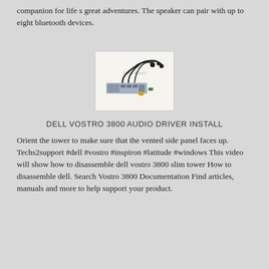companion for life s great adventures. The speaker can pair with up to eight bluetooth devices.
[Figure (photo): Photo of a Dell Vostro 3800 audio/front panel module with attached cables and connectors on a white background.]
DELL VOSTRO 3800 AUDIO DRIVER INSTALL
Orient the tower to make sure that the vented side panel faces up. Techs2support #dell #vostro #inspiron #latitude #windows This video will show how to disassemble dell vostro 3800 slim tower How to disassemble dell. Search Vostro 3800 Documentation Find articles, manuals and more to help support your product.